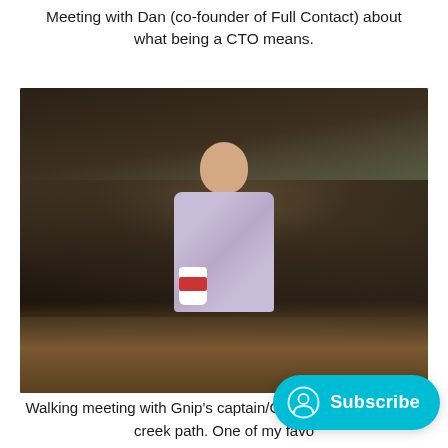Meeting with Dan (co-founder of Full Contact) about what being a CTO means.
[Figure (photo): Man standing outdoors along a creek path, smiling, holding a coffee cup with a red sleeve, wearing a light plaid button-down shirt, with bare winter trees and water in the background.]
Walking meeting with Gnip's captain/CTO along the Boulder creek path. One of my favo...